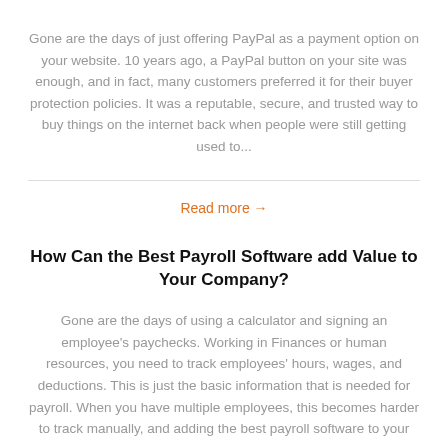Gone are the days of just offering PayPal as a payment option on your website. 10 years ago, a PayPal button on your site was enough, and in fact, many customers preferred it for their buyer protection policies. It was a reputable, secure, and trusted way to buy things on the internet back when people were still getting used to...
Read more →
How Can the Best Payroll Software add Value to Your Company?
Gone are the days of using a calculator and signing an employee's paychecks. Working in Finances or human resources, you need to track employees' hours, wages, and deductions. This is just the basic information that is needed for payroll. When you have multiple employees, this becomes harder to track manually, and adding the best payroll software to your company can...
Read more →